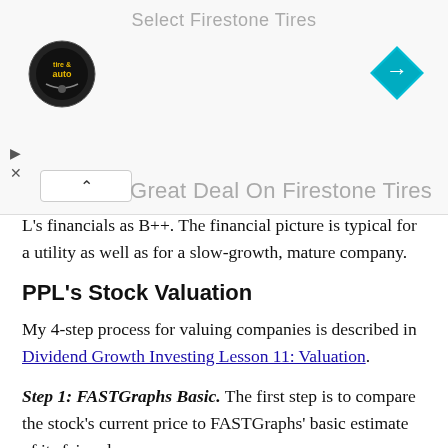[Figure (screenshot): Advertisement banner for Select Firestone Tires with tire & auto logo on left and blue navigation diamond icon on right. Contains ad controls and tagline 'Great Deal On Firestone Tires'.]
L's financials as B++. The financial picture is typical for a utility as well as for a slow-growth, mature company.
PPL's Stock Valuation
My 4-step process for valuing companies is described in Dividend Growth Investing Lesson 11: Valuation.
Step 1: FASTGraphs Basic. The first step is to compare the stock's current price to FASTGraphs' basic estimate of its fair value.
The basic valuation estimate uses a price-to-earnings (P/E) ratio of 15, which is the historical long-term P/E of the